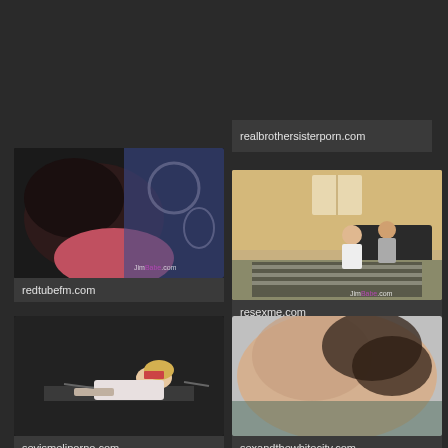realbrothersisterporn.com
[Figure (photo): Close-up of person with dark hair, colorful fabric background, watermark JimBabe.com]
redtubefm.com
[Figure (photo): Living room scene with people on couch, striped rug, watermark JimBabe.com]
resexme.com
[Figure (photo): Person bent over a desk, blond hair, dark room]
sevismeliporno.com
[Figure (photo): Close-up blurred flesh tones, dark background]
sexandthewhitecity.com